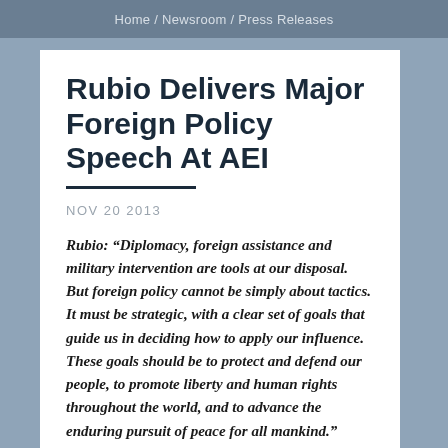Home / Newsroom / Press Releases
Rubio Delivers Major Foreign Policy Speech At AEI
NOV 20 2013
Rubio: “Diplomacy, foreign assistance and military intervention are tools at our disposal. But foreign policy cannot be simply about tactics. It must be strategic, with a clear set of goals that guide us in deciding how to apply our influence. These goals should be to protect and defend our people, to promote liberty and human rights throughout the world, and to advance the enduring pursuit of peace for all mankind.”
U.S. Senator Marco Rubio